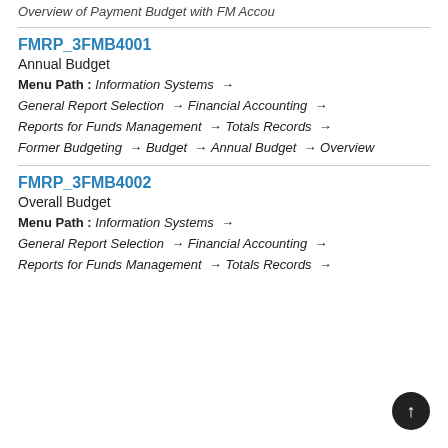Overview of Payment Budget with FM Accou
FMRP_3FMB4001
Annual Budget
Menu Path : Information Systems →
General Report Selection → Financial Accounting →
Reports for Funds Management → Totals Records →
Former Budgeting → Budget → Annual Budget → Overview
FMRP_3FMB4002
Overall Budget
Menu Path : Information Systems →
General Report Selection → Financial Accounting →
Reports for Funds Management → Totals Records →